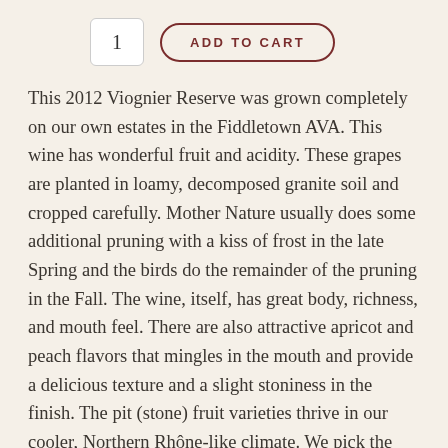[Figure (other): Quantity input box showing '1' and an 'ADD TO CART' button with rounded border]
This 2012 Viognier Reserve was grown completely on our own estates in the Fiddletown AVA. This wine has wonderful fruit and acidity. These grapes are planted in loamy, decomposed granite soil and cropped carefully. Mother Nature usually does some additional pruning with a kiss of frost in the late Spring and the birds do the remainder of the pruning in the Fall. The wine, itself, has great body, richness, and mouth feel. There are also attractive apricot and peach flavors that mingles in the mouth and provide a delicious texture and a slight stoniness in the finish. The pit (stone) fruit varieties thrive in our cooler, Northern Rhône-like climate. We pick the fruit by flavor and physiological maturity. The grapes begin to get a